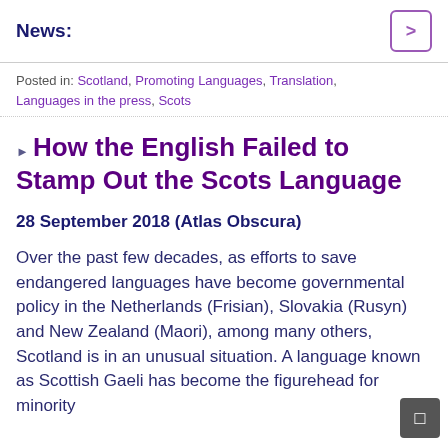News:
Posted in: Scotland, Promoting Languages, Translation, Languages in the press, Scots
How the English Failed to Stamp Out the Scots Language
28 September 2018 (Atlas Obscura)
Over the past few decades, as efforts to save endangered languages have become governmental policy in the Netherlands (Frisian), Slovakia (Rusyn) and New Zealand (Maori), among many others, Scotland is in an unusual situation. A language known as Scottish Gaeli has become the figurehead for minority